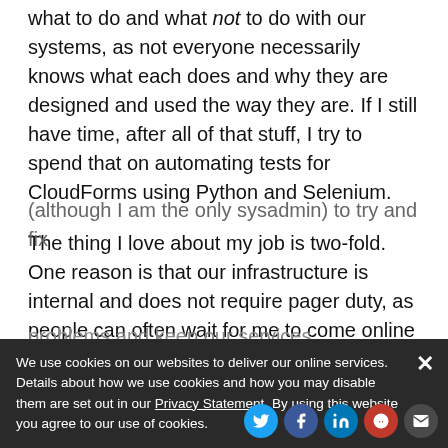Every now and then, I also need to educate people on what to do and what not to do with our systems, as not everyone necessarily knows what each does and why they are designed and used the way they are. If I still have time, after all of that stuff, I try to spend that on automating tests for CloudForms using Python and Selenium.
The thing I love about my job is two-fold. One reason is that our infrastructure is internal and does not require pager duty, as people can often wait for me to come online to fix things. The other reason is that my team is globally distributed, so I can rely on others (although I am the only sysadmin) to try and fix problems...
We use cookies on our websites to deliver our online services. Details about how we use cookies and how you may disable them are set out in our Privacy Statement. By using this website you agree to our use of cookies.